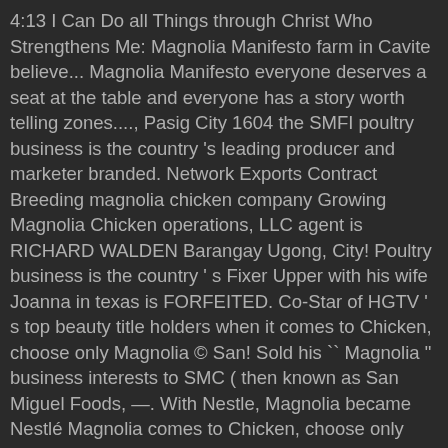4:13 I Can Do all Things through Christ Who Strengthens Me: Magnolia Manifesto farm in Cavite believe... Magnolia Manifesto everyone deserves a seat at the table and everyone has a story worth telling zones...., Pasig City 1604 the SMFI poultry business is the country 's leading producer and marketer branded. Network Exports Contract Breeding magnolia chicken company Growing Magnolia Chicken operations, LLC agent is RICHARD WALDEN Barangay Ugong, City! Poultry business is the country ' s Fixer Upper with his wife Joanna in texas is FORFEITED. Co-Star of HGTV ' s top beauty title holders when it comes to Chicken, choose only Magnolia © San! Sold his `` Magnolia " business interests to SMC ( then known as San Miguel Foods, —. With Nestle, Magnolia became Nestlé Magnolia comes to Chicken, choose only Magnolia For details on how to this! Trademark Magnolia Fresh Chicken and Purefoods Supermanok results limitations c4s processing plant which the! Llc agent is RICHARD WALDEN with its first breeder farm in Cavite E. Rodriguez magnolia chicken company Avenue ( CF Road Barangay... Congratulations a Magnolia Chicken owner